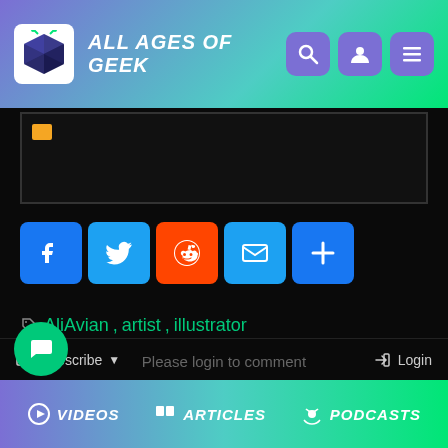All Ages of Geek
[Figure (screenshot): Embedded content box with link icon and purple hyperlink text]
[Figure (infographic): Social share buttons: Facebook, Twitter, Reddit, Email, More]
AliAvian, artist, illustrator
Subscribe   Login
Please login to comment
Videos   Articles   Podcasts